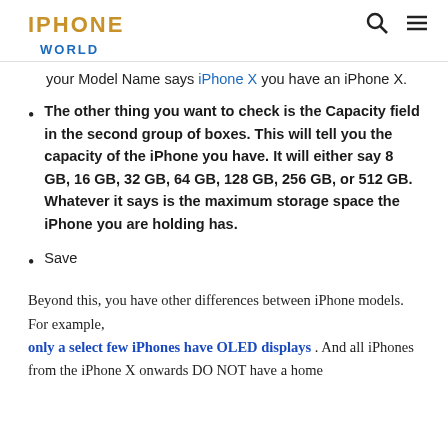IPHONE WORLD
your Model Name says iPhone X you have an iPhone X.
The other thing you want to check is the Capacity field in the second group of boxes. This will tell you the capacity of the iPhone you have. It will either say 8 GB, 16 GB, 32 GB, 64 GB, 128 GB, 256 GB, or 512 GB. Whatever it says is the maximum storage space the iPhone you are holding has.
Save
Beyond this, you have other differences between iPhone models. For example, only a select few iPhones have OLED displays . And all iPhones from the iPhone X onwards DO NOT have a home